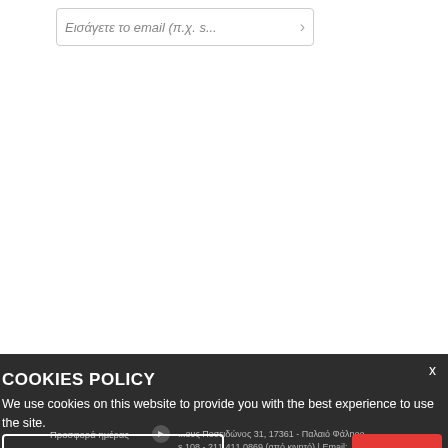[Figure (screenshot): Email input field with italic placeholder text 'Εισάγετε το email (π.χ. s...' and a right arrow button]
[Figure (screenshot): Gray website section with bold Greek text 'ΗΕΙ...' and dropdown arrow, plus a floating product card showing SUP boards with a red X close button]
COOKIES POLICY
We use cookies on this website to provide you with the best experience to use the site.
MORE INFORMATIONS
ACCEPT
Προσφορά ημέρας  ...ους Ποσειδώνος 31, 17361 - Παλαιό Φάληρο  s 108 - 211 411 0869 (από κινητό) | Email: